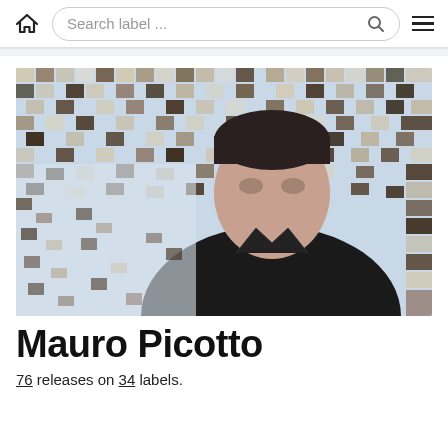Search label ...
[Figure (photo): Portrait photo of Mauro Picotto, a man in a black jacket standing in front of a colorful mosaic/tile wall background]
Mauro Picotto
76 releases on 34 labels.